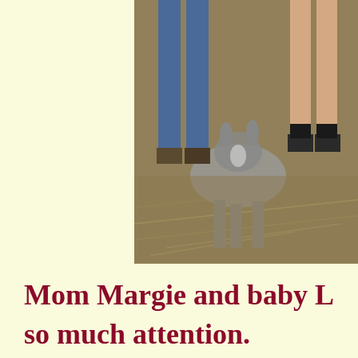[Figure (photo): Partial photo showing legs of children and a donkey standing on dry grass/hay ground, top-right portion of page]
Mom Margie and baby L... so much attention. Liberty is a sweet little... She is registered and pedig... Cost $3500.    sold